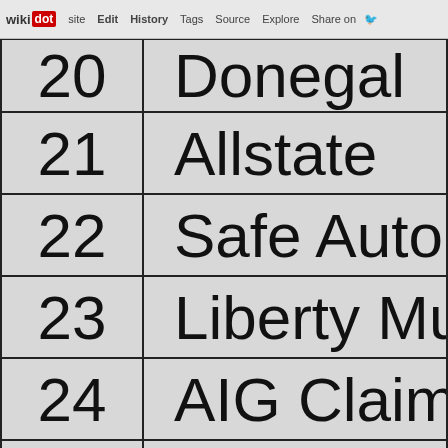wikidot | site | Edit | History | Tags | Source | Explore | Share on
| Rank | Company |
| --- | --- |
| 20 | Donegal |
| 21 | Allstate |
| 22 | Safe Auto |
| 23 | Liberty Mutu... |
| 24 | AIG Claim Ser... |
| 25 | USAA |